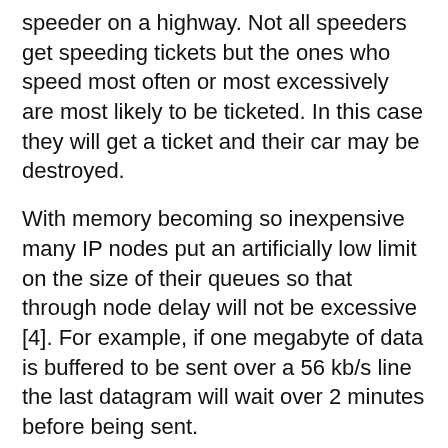speeder on a highway. Not all speeders get speeding tickets but the ones who speed most often or most excessively are most likely to be ticketed. In this case they will get a ticket and their car may be destroyed.
With memory becoming so inexpensive many IP nodes put an artificially low limit on the size of their queues so that through node delay will not be excessive [4]. For example, if one megabyte of data is buffered to be sent over a 56 kb/s line the last datagram will wait over 2 minutes before being sent.
One problem with SQ is that the IP or ICMP specification does not have a well defined event to indicate receipt of SQ to higher level protocols. Therefore many TCP implementations do not get notified about SQ events and thus do not react to SQ. TCP is not the only source of IP datagrams either. Other protocols should also respond to SQ events in some appropriate way. TCP and other protocols at that level should do something about a source quench, however, discussion of their behavior is beyond the